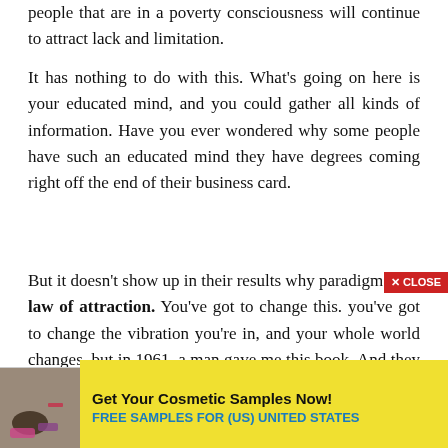people that are in a poverty consciousness will continue to attract lack and limitation.
It has nothing to do with this. What's going on here is your educated mind, and you could gather all kinds of information. Have you ever wondered why some people have such an educated mind they have degrees coming right off the end of their business card.
But it doesn't show up in their results why paradigm. The law of attraction. You've got to change this. you've got to change the vibration you're in, and your whole world changes, but in 1961, a man gave me this book. And they s
[Figure (other): Advertisement banner: cosmetic products image on left, text 'Get Your Cosmetic Samples Now! FREE SAMPLES FOR (US) UNITED STATES' on yellow background with X CLOSE button]